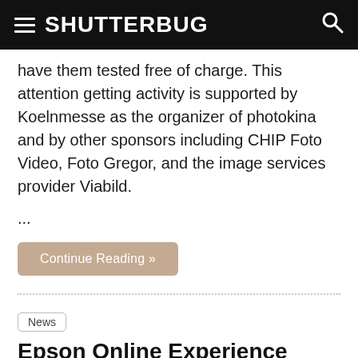SHUTTERBUG
have them tested free of charge. This attention getting activity is supported by Koelnmesse as the organizer of photokina and by other sponsors including CHIP Foto Video, Foto Gregor, and the image services provider Viabild.
...
Continue Reading »
News
Epson Online Experience Digital Printing